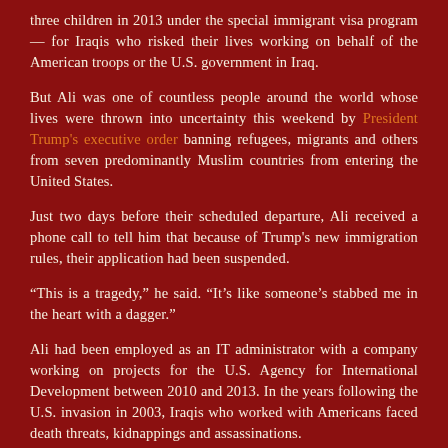three children in 2013 under the special immigrant visa program — for Iraqis who risked their lives working on behalf of the American troops or the U.S. government in Iraq.
But Ali was one of countless people around the world whose lives were thrown into uncertainty this weekend by President Trump's executive order banning refugees, migrants and others from seven predominantly Muslim countries from entering the United States.
Just two days before their scheduled departure, Ali received a phone call to tell him that because of Trump's new immigration rules, their application had been suspended.
“This is a tragedy,” he said. “It’s like someone’s stabbed me in the heart with a dagger.”
Ali had been employed as an IT administrator with a company working on projects for the U.S. Agency for International Development between 2010 and 2013. In the years following the U.S. invasion in 2003, Iraqis who worked with Americans faced death threats, kidnappings and assassinations.
“We were considered traitors,” he said. His recommendation letter from his employer said Ali had continued his “dedicated work” despite “sacrifice of his personal safety.”